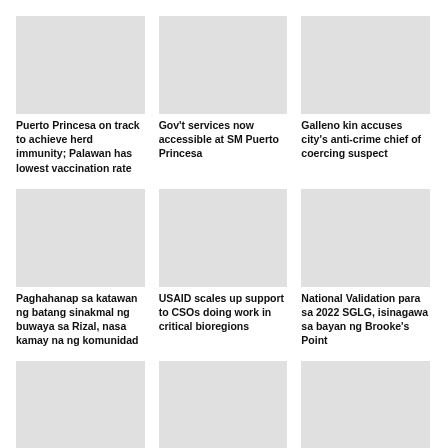Puerto Princesa on track to achieve herd immunity; Palawan has lowest vaccination rate
Gov't services now accessible at SM Puerto Princesa
Galleno kin accuses city's anti-crime chief of coercing suspect
Paghahanap sa katawan ng batang sinakmal ng buwaya sa Rizal, nasa kamay na ng komunidad
USAID scales up support to CSOs doing work in critical bioregions
National Validation para sa 2022 SGLG, isinagawa sa bayan ng Brooke's Point
Search and retrieval operation para sa batang sinakmal ng buwaya, ikinasa sa bayan ng Rizal
10-year-old boy missing after crocodile attack in river in Southern Palawan
Juvenile saltwater crocodiles spotted in a farm in Balabac